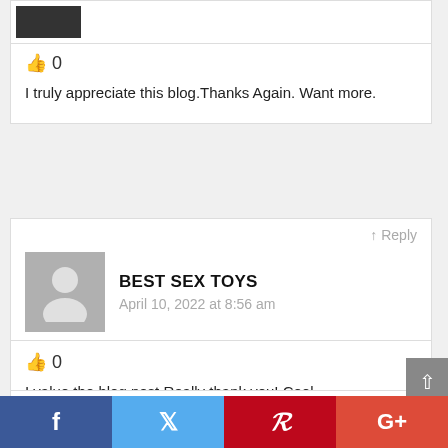[Figure (photo): Small dark photo/thumbnail at the top of a comment card]
0
I truly appreciate this blog.Thanks Again. Want more.
↑ Reply
BEST SEX TOYS
April 10, 2022 at 8:56 am
0
I value the blog post.Really thank you! Cool.